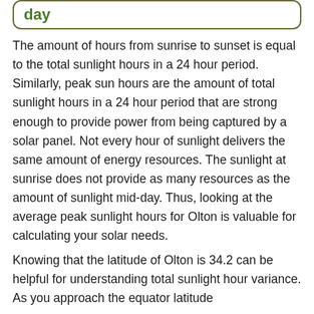day
The amount of hours from sunrise to sunset is equal to the total sunlight hours in a 24 hour period. Similarly, peak sun hours are the amount of total sunlight hours in a 24 hour period that are strong enough to provide power from being captured by a solar panel. Not every hour of sunlight delivers the same amount of energy resources. The sunlight at sunrise does not provide as many resources as the amount of sunlight mid-day. Thus, looking at the average peak sunlight hours for Olton is valuable for calculating your solar needs.
Knowing that the latitude of Olton is 34.2 can be helpful for understanding total sunlight hour variance. As you approach the equator latitude